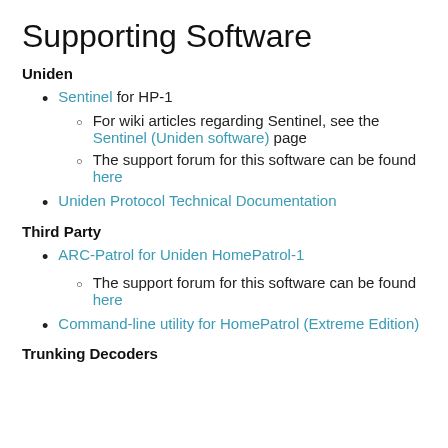Supporting Software
Uniden
Sentinel for HP-1
For wiki articles regarding Sentinel, see the Sentinel (Uniden software) page
The support forum for this software can be found here
Uniden Protocol Technical Documentation
Third Party
ARC-Patrol for Uniden HomePatrol-1
The support forum for this software can be found here
Command-line utility for HomePatrol (Extreme Edition)
Trunking Decoders